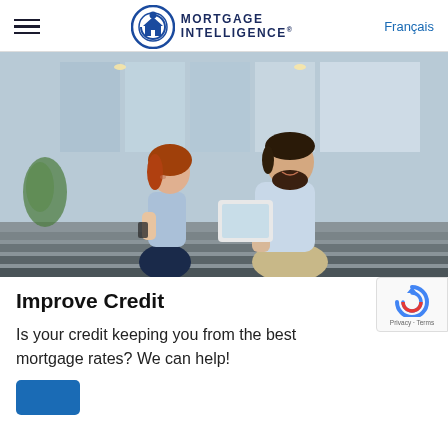Mortgage Intelligence | Français
[Figure (photo): Two people, a woman with red hair holding a smartphone and a man with a beard holding a tablet, sitting on outdoor steps in front of a glass building, looking at the tablet together and smiling.]
Improve Credit
Is your credit keeping you from the best mortgage rates? We can help!
[Figure (logo): reCAPTCHA badge with recycling-like arrow logo and Privacy - Terms text]